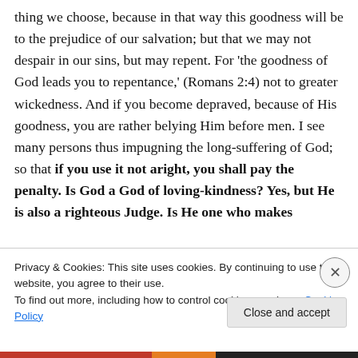thing we choose, because in that way this goodness will be to the prejudice of our salvation; but that we may not despair in our sins, but may repent. For 'the goodness of God leads you to repentance,' (Romans 2:4) not to greater wickedness. And if you become depraved, because of His goodness, you are rather belying Him before men. I see many persons thus impugning the long-suffering of God; so that if you use it not aright, you shall pay the penalty. Is God a God of loving-kindness? Yes, but He is also a righteous Judge. Is He one who makes
Privacy & Cookies: This site uses cookies. By continuing to use this website, you agree to their use. To find out more, including how to control cookies, see here: Cookie Policy